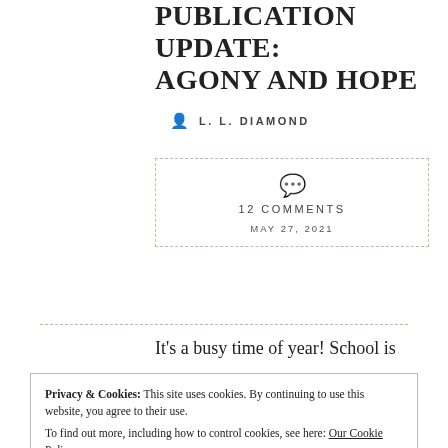PUBLICATION UPDATE: AGONY AND HOPE
L. L. DIAMOND
12 COMMENTS
MAY 27, 2021
It's a busy time of year! School is
Privacy & Cookies: This site uses cookies. By continuing to use this website, you agree to their use.
To find out more, including how to control cookies, see here: Our Cookie Policy
Close and accept
2 at Austen Variations, click on the